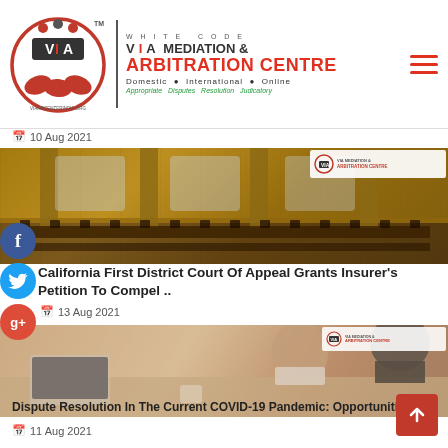[Figure (logo): VIA Mediation & Arbitration Centre logo with circular emblem, brand name, and tagline]
10 Aug 2021
[Figure (photo): Photo of a large ornate courtroom with wooden paneling and rows of chairs, with VIA Mediation & Arbitration Centre logo overlay]
California First District Court Of Appeal Grants Insurer’s Petition To Compel ..
13 Aug 2021
[Figure (photo): Photo of two women in a meeting at a table with a laptop, one wearing a mask, with VIA Mediation & Arbitration Centre logo overlay]
Dispute Resolution In The Current COVID-19 Pandemic: Opportunities..
11 Aug 2021